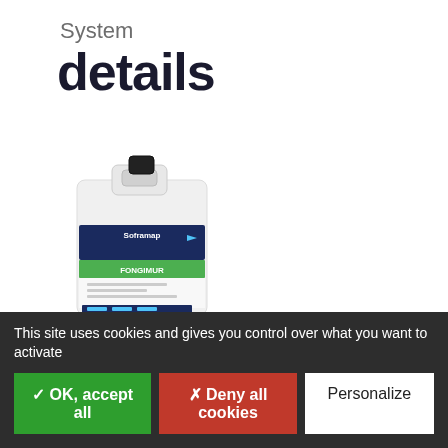System
details
[Figure (photo): A white plastic jug/container (approximately 5L) of Courtsol Fongimur product, with a dark blue and green label showing the Soframap brand.]
Courtsol
Fongimur
Preventive and curative decontamination solution to combat the appearance of moss, algae and fungi.
This site uses cookies and gives you control over what you want to activate
✓ OK, accept all   ✗ Deny all cookies   Personalize